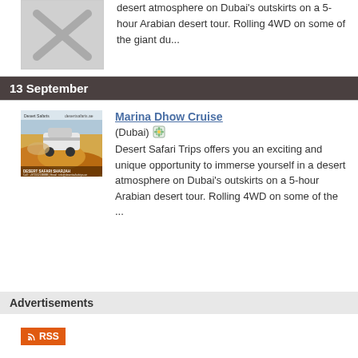[Figure (photo): Placeholder image with grey X — broken image placeholder]
desert atmosphere on Dubai's outskirts on a 5-hour Arabian desert tour. Rolling 4WD on some of the giant du...
13 September
[Figure (photo): Desert Safari SUV driving through orange sand dunes, Desert Safari Sharjah advertisement image]
Marina Dhow Cruise
(Dubai)
Desert Safari Trips offers you an exciting and unique opportunity to immerse yourself in a desert atmosphere on Dubai's outskirts on a 5-hour Arabian desert tour. Rolling 4WD on some of the ...
Advertisements
RSS